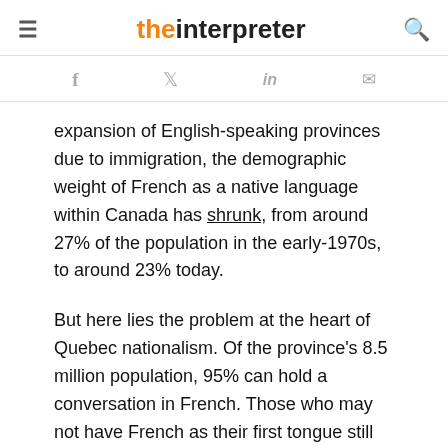the interpreter
f  twitter  in  mail (social sharing icons)
expansion of English-speaking provinces due to immigration, the demographic weight of French as a native language within Canada has shrunk, from around 27% of the population in the early-1970s, to around 23% today.

But here lies the problem at the heart of Quebec nationalism. Of the province's 8.5 million population, 95% can hold a conversation in French. Those who may not have French as their first tongue still overwhelmingly operate in the language in the public domain. However, for Quebec nationalists, speaking French in public